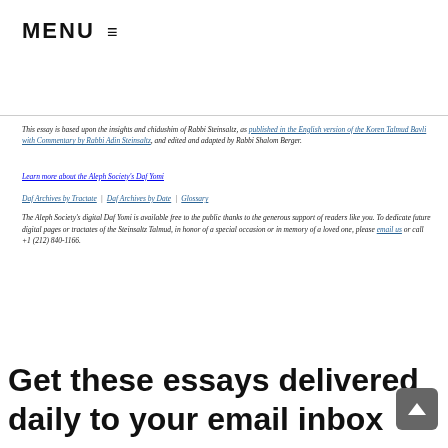MENU ≡
This essay is based upon the insights and chidushim of Rabbi Steinsaltz, as published in the English version of the Koren Talmud Bavli with Commentary by Rabbi Adin Steinsaltz, and edited and adapted by Rabbi Shalom Berger.
Learn more about the Aleph Society's Daf Yomi
Daf Archives by Tractate | Daf Archives by Date | Glossary
The Aleph Society's digital Daf Yomi is available free to the public thanks to the generous support of readers like you. To dedicate future digital pages or tractates of the Steinsaltz Talmud, in honor of a special occasion or in memory of a loved one, please email us or call +1 (212) 840-1166.
Get these essays delivered daily to your email inbox